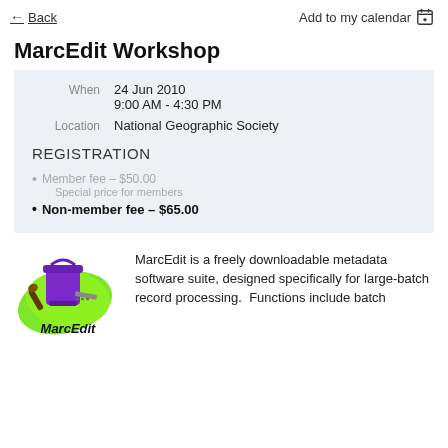Back   Add to my calendar
MarcEdit Workshop
| When | 24 Jun 2010
9:00 AM - 4:30 PM |
| Location | National Geographic Society |
REGISTRATION
Member fee – $50.00
Special price for members
Non-member fee – $65.00
[Figure (logo): MarcEdit logo: purple bucket with tools on a green splash, with text MarcEdit below in bold italic]
MarcEdit is a freely downloadable metadata software suite, designed specifically for large-batch record processing.  Functions include batch